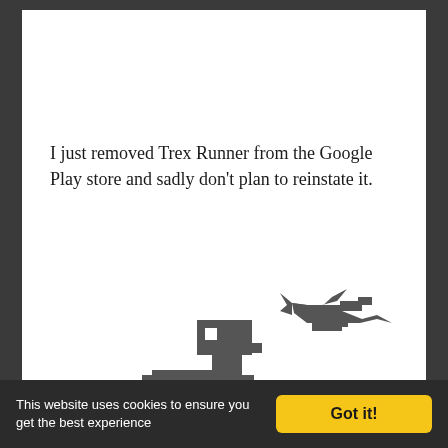I just removed Trex Runner from the Google Play store and sadly don't plan to reinstate it.
[Figure (illustration): Pixel-art style T-Rex dinosaur (similar to Chrome's offline dinosaur game) in dark gray, shown mid-stride with one leg raised and a pterodactyl-like bird flying above and to the right.]
This website uses cookies to ensure you get the best experience
Got it!